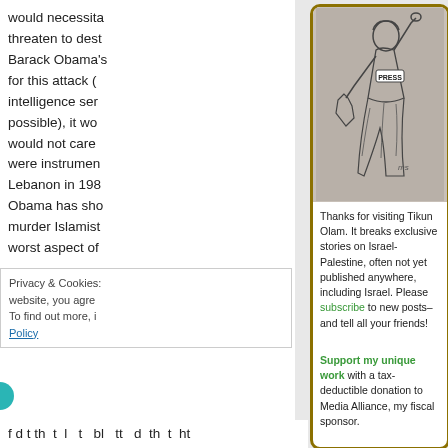would necessita threaten to dest Barack Obama's for this attack ( intelligence ser possible), it wo would not care were instrumen Lebanon in 198 Obama has sho murder Islamist worst aspect of
[Figure (illustration): Black and white line drawing of a woman styled like the Statue of Liberty, wearing a press vest labeled 'PRESS', with one fist raised and holding a map shape in the other hand, against a gray background.]
Thanks for visiting Tikun Olam. It breaks exclusive stories on Israel-Palestine, often not yet published anywhere, including Israel. Please subscribe to new posts–and tell all your friends!

Support my unique work with a tax-deductible donation to Media Alliance, my fiscal sponsor.
Privacy & Cookies: website, you agree To find out more, i Policy
f d t th t l t bl tt d th t ht